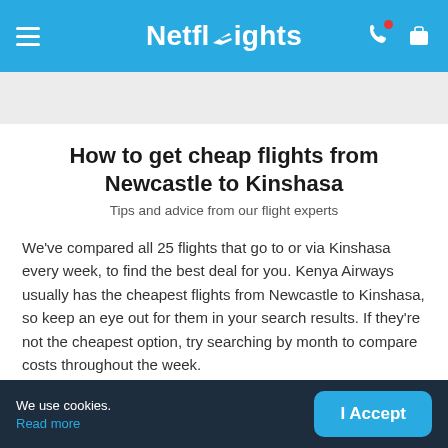Netflights
How to get cheap flights from Newcastle to Kinshasa
Tips and advice from our flight experts
We've compared all 25 flights that go to or via Kinshasa every week, to find the best deal for you. Kenya Airways usually has the cheapest flights from Newcastle to Kinshasa, so keep an eye out for them in your search results. If they're not the cheapest option, try searching by month to compare costs throughout the week.
We use cookies. Read more | I Accept